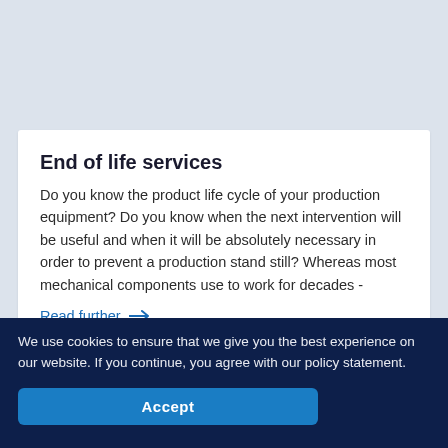End of life services
Do you know the product life cycle of your production equipment? Do you know when the next intervention will be useful and when it will be absolutely necessary in order to prevent a production stand still? Whereas most mechanical components use to work for decades -
Read further →
TESTIMONIAL   12 AUG. 2021
Green light for England
When it comes to developing and
We use cookies to ensure that we give you the best experience on our website. If you continue, you agree with our policy statement.
Accept